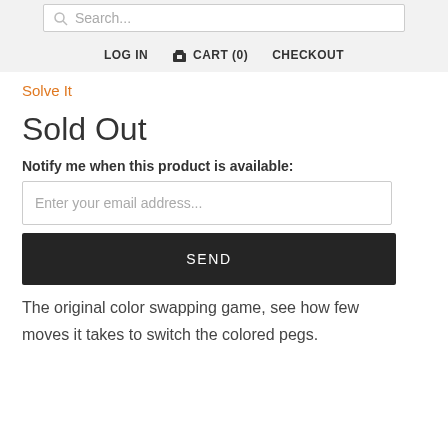Search... | LOG IN | CART (0) | CHECKOUT
Solve It
Sold Out
Notify me when this product is available:
Enter your email address...
SEND
The original color swapping game, see how few moves it takes to switch the colored pegs.